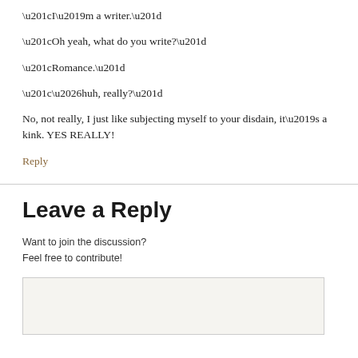“I’m a writer.”
“Oh yeah, what do you write?”
“Romance.”
“…huh, really?”
No, not really, I just like subjecting myself to your disdain, it’s a kink. YES REALLY!
Reply
Leave a Reply
Want to join the discussion?
Feel free to contribute!